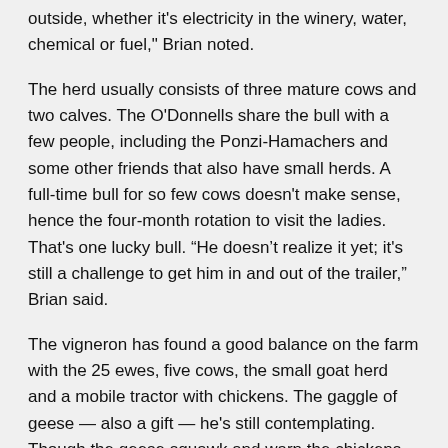outside, whether it's electricity in the winery, water, chemical or fuel," Brian noted.
The herd usually consists of three mature cows and two calves. The O'Donnells share the bull with a few people, including the Ponzi-Hamachers and some other friends that also have small herds. A full-time bull for so few cows doesn't make sense, hence the four-month rotation to visit the ladies. That's one lucky bull. “He doesn't realize it yet; it's still a challenge to get him in and out of the trailer,” Brian said.
The vigneron has found a good balance on the farm with the 25 ewes, five cows, the small goat herd and a mobile tractor with chickens. The gaggle of geese — also a gift — he's still contemplating. Though the geese squawk and warn the chickens of approaching hawks, he jokingly likens their personalities to that of gangsters.